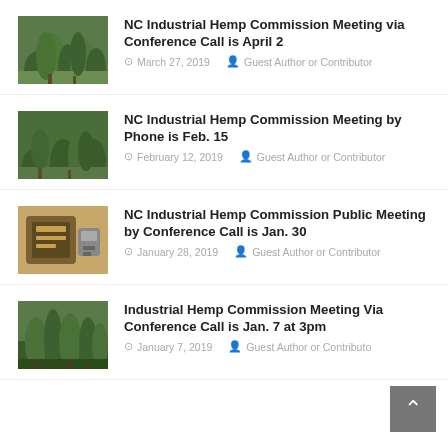NC Industrial Hemp Commission Meeting via Conference Call is April 2 | March 27, 2019 | Guest Author or Contributor
NC Industrial Hemp Commission Meeting by Phone is Feb. 15 | February 12, 2019 | Guest Author or Contributor
NC Industrial Hemp Commission Public Meeting by Conference Call is Jan. 30 | January 28, 2019 | Guest Author or Contributor
Industrial Hemp Commission Meeting Via Conference Call is Jan. 7 at 3pm | January 7, 2019 | Guest Author or Contributor